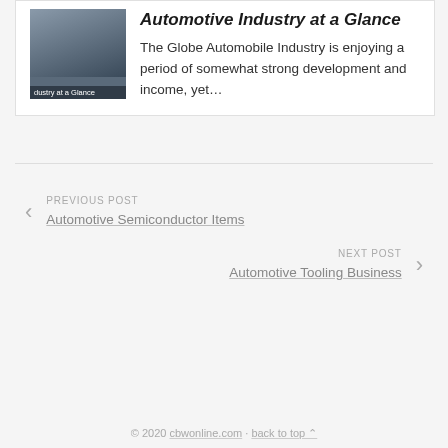[Figure (photo): Photo of automobile manufacturing/assembly with a worker in a factory setting. Overlay text at bottom reads 'dustry at a Glance'.]
Automotive Industry at a Glance
The Globe Automobile Industry is enjoying a period of somewhat strong development and income, yet...
PREVIOUS POST
Automotive Semiconductor Items
NEXT POST
Automotive Tooling Business
© 2020 cbwonline.com · back to top ▲